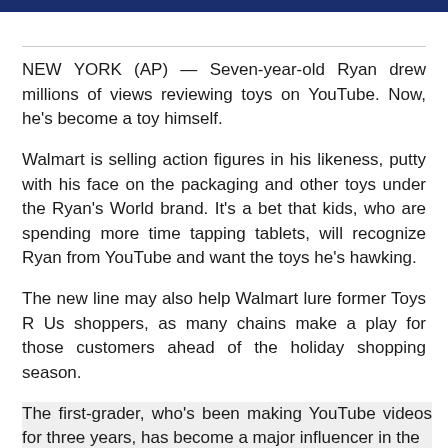NEW YORK (AP) — Seven-year-old Ryan drew millions of views reviewing toys on YouTube. Now, he's become a toy himself.
Walmart is selling action figures in his likeness, putty with his face on the packaging and other toys under the Ryan's World brand. It's a bet that kids, who are spending more time tapping tablets, will recognize Ryan from YouTube and want the toys he's hawking.
The new line may also help Walmart lure former Toys R Us shoppers, as many chains make a play for those customers ahead of the holiday shopping season.
The first-grader, who's been making YouTube videos for three years, has become a major influencer in the